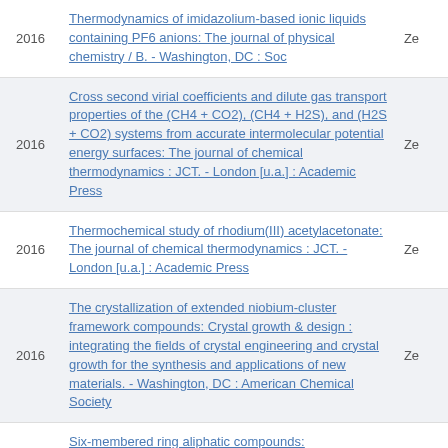| Year | Title | Ze |
| --- | --- | --- |
| 2016 | Thermodynamics of imidazolium-based ionic liquids containing PF6 anions: The journal of physical chemistry / B. - Washington, DC : Soc | Ze |
| 2016 | Cross second virial coefficients and dilute gas transport properties of the (CH4 + CO2), (CH4 + H2S), and (H2S + CO2) systems from accurate intermolecular potential energy surfaces: The journal of chemical thermodynamics : JCT. - London [u.a.] : Academic Press | Ze |
| 2016 | Thermochemical study of rhodium(III) acetylacetonate: The journal of chemical thermodynamics : JCT. - London [u.a.] : Academic Press | Ze |
| 2016 | The crystallization of extended niobium-cluster framework compounds: Crystal growth & design : integrating the fields of crystal engineering and crystal growth for the synthesis and applications of new materials. - Washington, DC : American Chemical Society | Ze |
|  | Six-membered ring aliphatic compounds: |  |